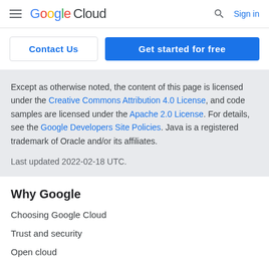Google Cloud — Sign in
Contact Us | Get started for free
Except as otherwise noted, the content of this page is licensed under the Creative Commons Attribution 4.0 License, and code samples are licensed under the Apache 2.0 License. For details, see the Google Developers Site Policies. Java is a registered trademark of Oracle and/or its affiliates.

Last updated 2022-02-18 UTC.
Why Google
Choosing Google Cloud
Trust and security
Open cloud